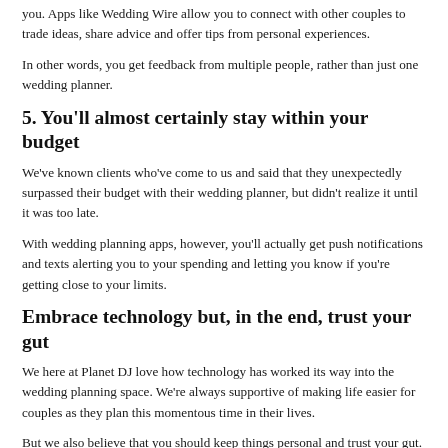you. Apps like Wedding Wire allow you to connect with other couples to trade ideas, share advice and offer tips from personal experiences.
In other words, you get feedback from multiple people, rather than just one wedding planner.
5. You'll almost certainly stay within your budget
We've known clients who've come to us and said that they unexpectedly surpassed their budget with their wedding planner, but didn't realize it until it was too late.
With wedding planning apps, however, you'll actually get push notifications and texts alerting you to your spending and letting you know if you're getting close to your limits.
Embrace technology but, in the end, trust your gut
We here at Planet DJ love how technology has worked its way into the wedding planning space. We're always supportive of making life easier for couples as they plan this momentous time in their lives.
But we also believe that you should keep things personal and trust your gut. If, for example, your virtual wedding planner app gives you 8 music